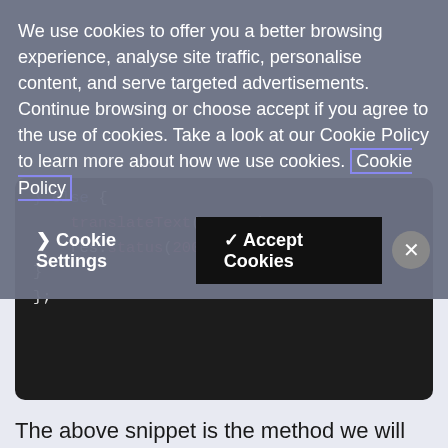We use cookies to offer you a better browsing experience, analyse site traffic, personalise content, and serve targeted advertisements. Continue browsing or choose accept if you agree to the use of cookies. Take a look at our Cookie Policy to learn more about how we use cookies. [Cookie Policy]
[Figure (screenshot): Cookie consent dialog with 'Cookie Settings', 'Accept Cookies', and close (X) buttons on a grey overlay]
[Figure (screenshot): Code block on dark background showing JavaScript: } else { translateText(params); res.status(200).end(); } };]
The above snippet is the method we will pass into the routes. If the incoming message is using POST it will use req.body, and it will use req.query for the GET option. As long